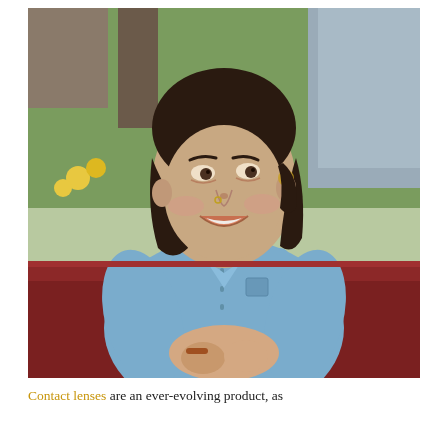[Figure (photo): A young woman with dark shoulder-length hair, smiling and looking to the side, wearing a light blue chambray denim shirt with sleeves rolled up slightly, leaning on a dark red wooden railing with her hands clasped. Green foliage and yellow daffodils are visible in the background.]
Contact lenses are an ever-evolving product, as